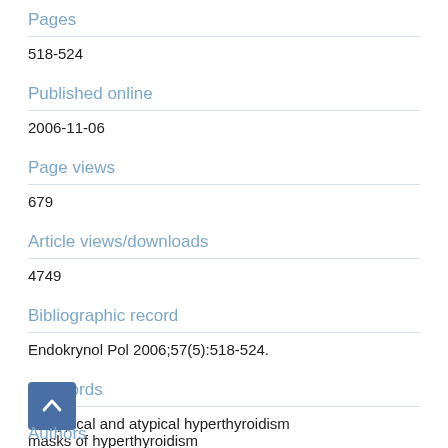Pages
518-524
Published online
2006-11-06
Page views
679
Article views/downloads
4749
Bibliographic record
Endokrynol Pol 2006;57(5):518-524.
Keywords
the typical and atypical hyperthyroidism
masks of hyperthyroidism
Authors